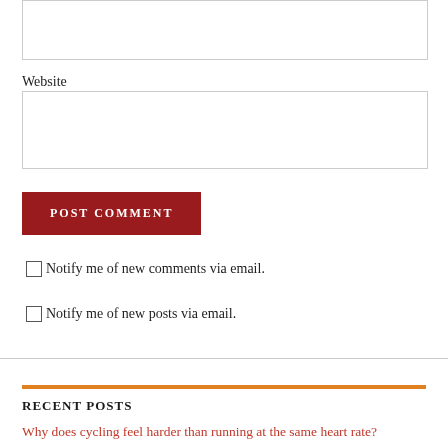Website
POST COMMENT
Notify me of new comments via email.
Notify me of new posts via email.
RECENT POSTS
Why does cycling feel harder than running at the same heart rate?